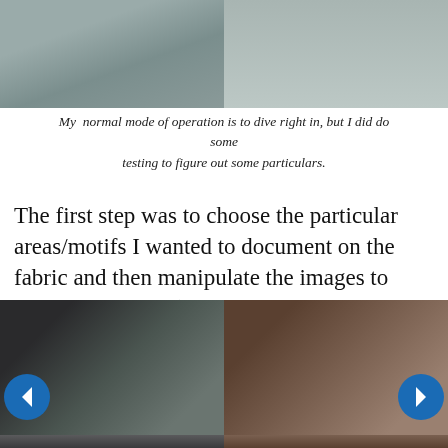[Figure (photo): Two photos side by side showing gray knit/fabric texture close-ups]
My  normal mode of operation is to dive right in, but I did do some testing to figure out some particulars.
The first step was to choose the particular areas/motifs I wanted to document on the fabric and then manipulate the images to correct the angle (so that circles were circular instead of elliptical).
[Figure (photo): Two photos side by side: left shows embroidered fabric with circular motifs on dark background, right shows fabric piece submerged in liquid in a bowl]
[Figure (photo): Bottom strip showing two more photos partially visible]